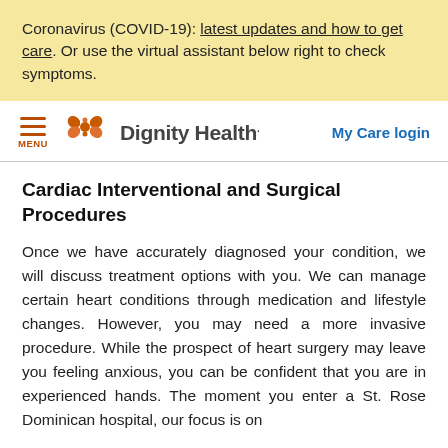Coronavirus (COVID-19): latest updates and how to get care. Or use the virtual assistant below right to check symptoms.
[Figure (logo): Dignity Health logo with orange flower/butterfly icon and text 'Dignity Health.' with hamburger menu icon labeled MENU on the left and 'My Care login' link on the right]
Cardiac Interventional and Surgical Procedures
Once we have accurately diagnosed your condition, we will discuss treatment options with you. We can manage certain heart conditions through medication and lifestyle changes. However, you may need a more invasive procedure. While the prospect of heart surgery may leave you feeling anxious, you can be confident that you are in experienced hands. The moment you enter a St. Rose Dominican hospital, our focus is on